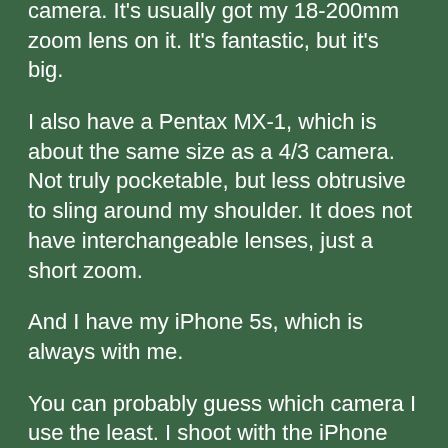camera. It's usually got my 18-200mm zoom lens on it. It's fantastic, but it's big.
I also have a Pentax MX-1, which is about the same size as a 4/3 camera. Not truly pocketable, but less obtrusive to sling around my shoulder. It does not have interchangeable lenses, just a short zoom.
And I have my iPhone 5s, which is always with me.
You can probably guess which camera I use the least. I shoot with the iPhone most, then the Pentax. I only shoot with the Nikon SLR when there is something specific I want to do which the other cameras would not be as good at.
So, I'd recommend the smaller camera. The reality is, most people only need one or two lenses anyway. And even though, all else being equal, a bigger sensor is "better" than a smaller one, the 4/3 cameras are excellent quality. My